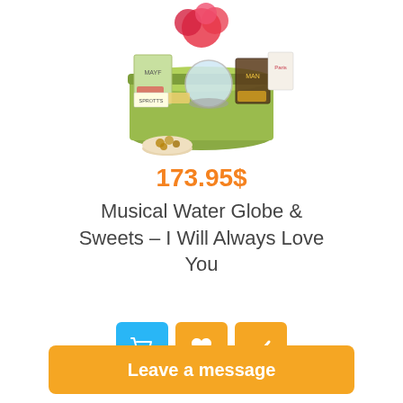[Figure (photo): Gift basket with musical water globe, sweets, chocolates, flowers, and various treats in a green metal bucket, with a small bowl of nuts in front]
173.95$
Musical Water Globe & Sweets – I Will Always Love You
[Figure (infographic): Three buttons: blue shopping cart button, orange heart/wishlist button, orange checkmark button]
Leave a message